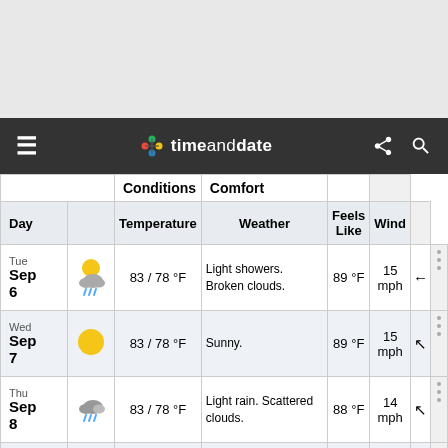[Figure (screenshot): Gray top area placeholder]
timeanddate
| Day | Temperature | Weather | Feels Like | Wind |
| --- | --- | --- | --- | --- |
| Tue Sep 6 | 83 / 78 °F | Light showers. Broken clouds. | 89 °F | 15 mph | ← |
| Wed Sep 7 | 83 / 78 °F | Sunny. | 89 °F | 15 mph | ↖ |
| Thu Sep 8 | 83 / 78 °F | Light rain. Scattered clouds. | 88 °F | 14 mph | ↖ |
| Fri Sep | 83 / 78 °F | Showers early. Morning | 87 °F | 12 mph | ← |